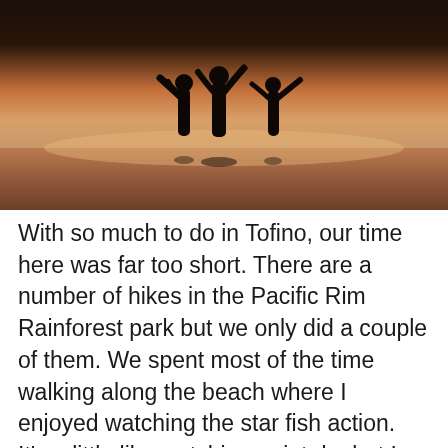[Figure (photo): Silhouetted figures standing in water at sunset/dusk, with warm orange and golden tones in the sky and water reflection. Dark silhouettes visible against the light background.]
With so much to do in Tofino, our time here was far too short. There are a number of hikes in the Pacific Rim Rainforest park but we only did a couple of them. We spent most of the time walking along the beach where I enjoyed watching the star fish action. It's a little like watching paint dry but I think it's much more entertaining. 🙂 We also went on a couple of short hikes through the rainforest. I love walking through these forests